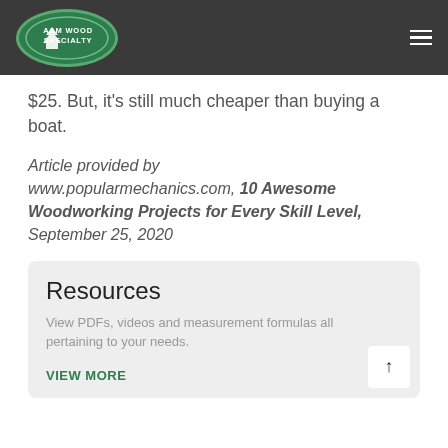A&M Wood Specialty
$25. But, it's still much cheaper than buying a boat.
Article provided by www.popularmechanics.com, 10 Awesome Woodworking Projects for Every Skill Level, September 25, 2020
Resources
View PDFs, videos and measurement formulas all pertaining to your needs.
VIEW MORE